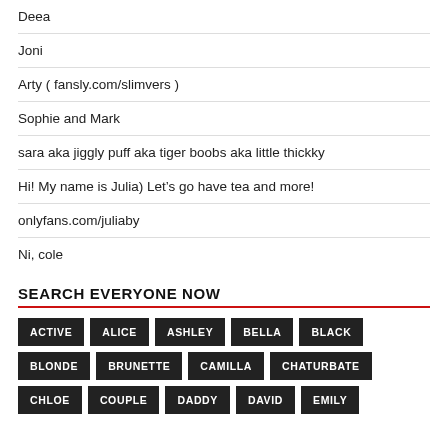Deea
Joni
Arty ( fansly.com/slimvers )
Sophie and Mark
sara aka jiggly puff aka tiger boobs aka little thickky
Hi! My name is Julia) Let’s go have tea and more!
onlyfans.com/juliaby
Ni, cole
SEARCH EVERYONE NOW
ACTIVE
ALICE
ASHLEY
BELLA
BLACK
BLONDE
BRUNETTE
CAMILLA
CHATURBATE
CHLOE
COUPLE
DADDY
DAVID
EMILY